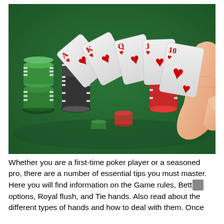[Figure (photo): A hand holding five playing cards in a fan — Ace, King, Queen, Jack, and 10 of hearts (a royal flush) — over a green poker table felt, with stacks of green, black, and red poker chips in the background.]
Whether you are a first-time poker player or a seasoned pro, there are a number of essential tips you must master. Here you will find information on the Game rules, Betting options, Royal flush, and Tie hands. Also read about the different types of hands and how to deal with them. Once